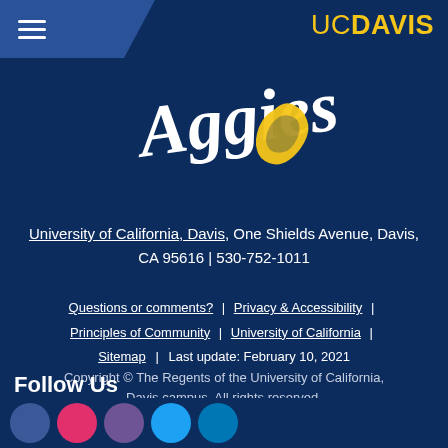[Figure (logo): UC Davis Aggies logo with script 'Aggies' text and California state outline in gold]
University of California, Davis, One Shields Avenue, Davis, CA 95616 | 530-752-1011
Questions or comments? | Privacy & Accessibility | Principles of Community | University of California | Sitemap | Last update: February 10, 2021
Copyright © The Regents of the University of California, Davis campus. All rights reserved.
Follow Us